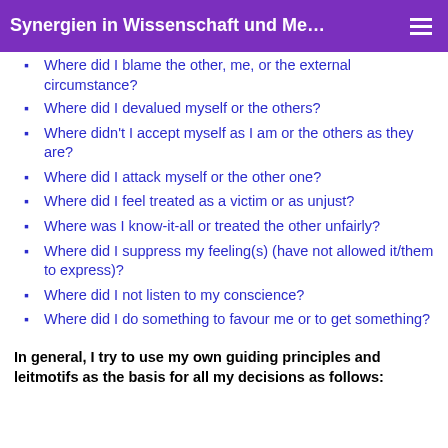Synergien in Wissenschaft und Me…
Where did I blame the other, me, or the external circumstance?
Where did I devalued myself or the others?
Where didn't I accept myself as I am or the others as they are?
Where did I attack myself or the other one?
Where did I feel treated as a victim or as unjust?
Where was I know-it-all or treated the other unfairly?
Where did I suppress my feeling(s) (have not allowed it/them to express)?
Where did I not listen to my conscience?
Where did I do something to favour me or to get something?
In general, I try to use my own guiding principles and leitmotifs as the basis for all my decisions as follows: